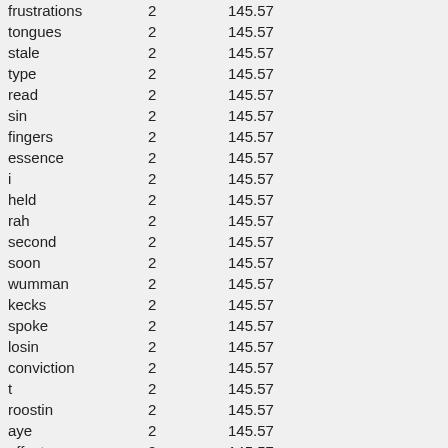| word | count | value |
| --- | --- | --- |
| frustrations | 2 | 145.57 |
| tongues | 2 | 145.57 |
| stale | 2 | 145.57 |
| type | 2 | 145.57 |
| read | 2 | 145.57 |
| sin | 2 | 145.57 |
| fingers | 2 | 145.57 |
| essence | 2 | 145.57 |
| i | 2 | 145.57 |
| held | 2 | 145.57 |
| rah | 2 | 145.57 |
| second | 2 | 145.57 |
| soon | 2 | 145.57 |
| wumman | 2 | 145.57 |
| kecks | 2 | 145.57 |
| spoke | 2 | 145.57 |
| losin | 2 | 145.57 |
| conviction | 2 | 145.57 |
| t | 2 | 145.57 |
| roostin | 2 | 145.57 |
| aye | 2 | 145.57 |
| effect | 2 | 145.57 |
| rich | 2 | 145.57 |
| capabilities | 2 | 145.57 |